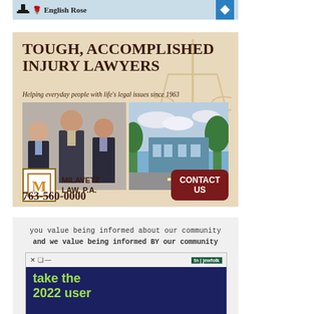[Figure (logo): English Rose logo banner with blue icon on right]
[Figure (infographic): Milavetz Law P.A. advertisement: Tough, Accomplished Injury Lawyers. Helping everyday people with life's legal issues since 1963. Photos of three lawyers in suits and law office building. Milavetz Law, P.A. logo, Contact Us button, phone 763-560-0000.]
[Figure (screenshot): Community ad: 'you value being informed about our community and we value being informed BY our community' with a Jewfolk browser screenshot showing 'take the 2022 user' text in green on dark blue background.]